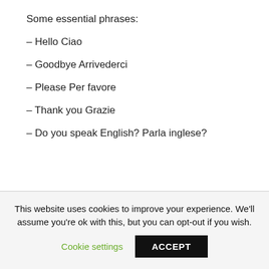Some essential phrases:
– Hello Ciao
– Goodbye Arrivederci
– Please Per favore
– Thank you Grazie
– Do you speak English? Parla inglese?
This website uses cookies to improve your experience. We'll assume you're ok with this, but you can opt-out if you wish.
Cookie settings
ACCEPT